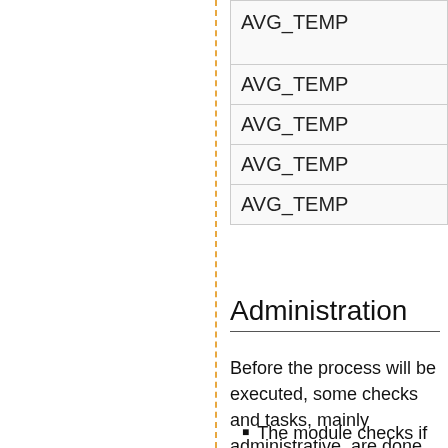| AVG_TEMP |
| AVG_TEMP |
| AVG_TEMP |
| AVG_TEMP |
| AVG_TEMP |
Administration
Before the process will be executed, some checks and tasks, mainly administrative, are done.
The module checks if no other